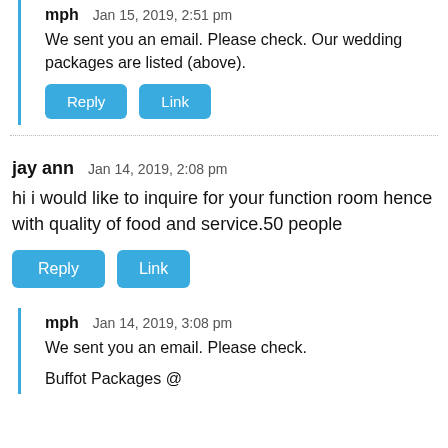mph  Jan 15, 2019, 2:51 pm
We sent you an email. Please check. Our wedding packages are listed (above).
Reply  Link
jay ann  Jan 14, 2019, 2:08 pm
hi i would like to inquire for your function room hence with quality of food and service.50 people
Reply  Link
mph  Jan 14, 2019, 3:08 pm
We sent you an email. Please check.
Buffot Packages @